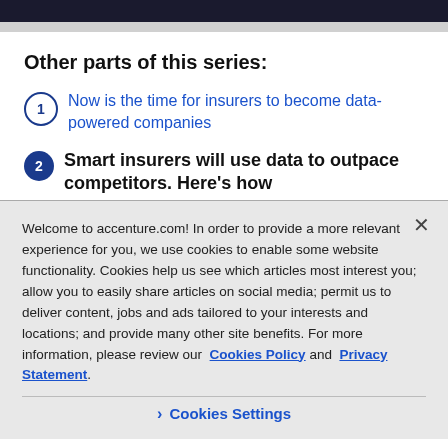Other parts of this series:
Now is the time for insurers to become data-powered companies
Smart insurers will use data to outpace competitors. Here's how
Welcome to accenture.com! In order to provide a more relevant experience for you, we use cookies to enable some website functionality. Cookies help us see which articles most interest you; allow you to easily share articles on social media; permit us to deliver content, jobs and ads tailored to your interests and locations; and provide many other site benefits. For more information, please review our Cookies Policy and Privacy Statement.
Cookies Settings